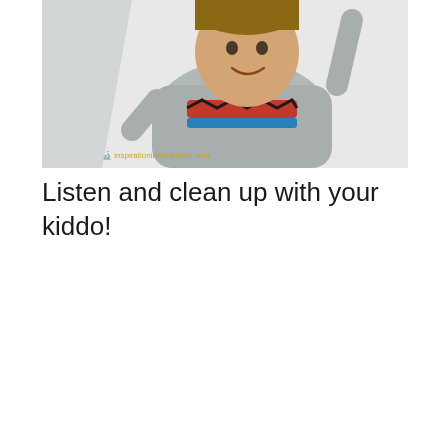[Figure (photo): A young toddler boy smiling, wearing a grey long-sleeve shirt with a colorful graphic, standing against a light grey/white wall. A watermark reads 'inspirationlaboratories.com' in yellow text at the bottom of the image.]
Listen and clean up with your kiddo!